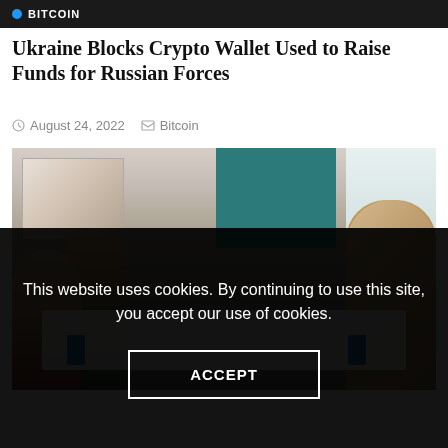BITCOIN
Ukraine Blocks Crypto Wallet Used to Raise Funds for Russian Forces
August 24, 2022   Bitcoin
[Figure (photo): People seated around a conference table in a meeting room with artwork on the wall and teal/blue decor in the background]
This website uses cookies. By continuing to use this site, you accept our use of cookies.
ACCEPT